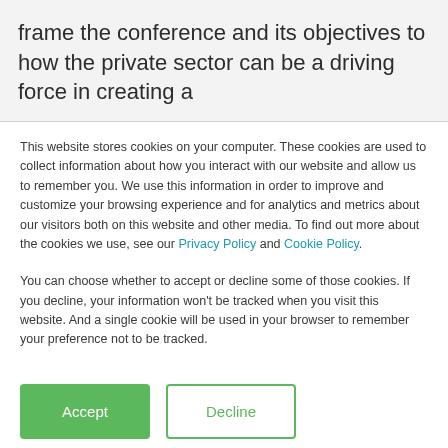frame the conference and its objectives to how the private sector can be a driving force in creating a
This website stores cookies on your computer. These cookies are used to collect information about how you interact with our website and allow us to remember you. We use this information in order to improve and customize your browsing experience and for analytics and metrics about our visitors both on this website and other media. To find out more about the cookies we use, see our Privacy Policy and Cookie Policy.
You can choose whether to accept or decline some of those cookies. If you decline, your information won't be tracked when you visit this website. And a single cookie will be used in your browser to remember your preference not to be tracked.
Accept | Decline